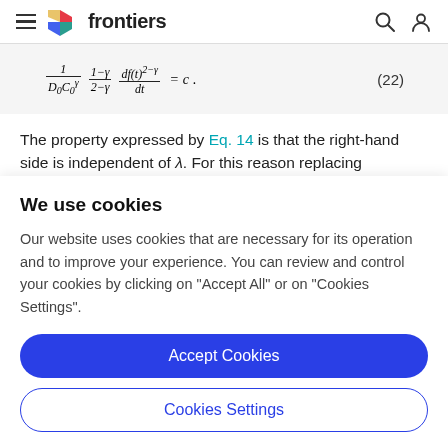frontiers
The property expressed by Eq. 14 is that the right-hand side is independent of λ. For this reason replacing
We use cookies
Our website uses cookies that are necessary for its operation and to improve your experience. You can review and control your cookies by clicking on "Accept All" or on "Cookies Settings".
Accept Cookies
Cookies Settings